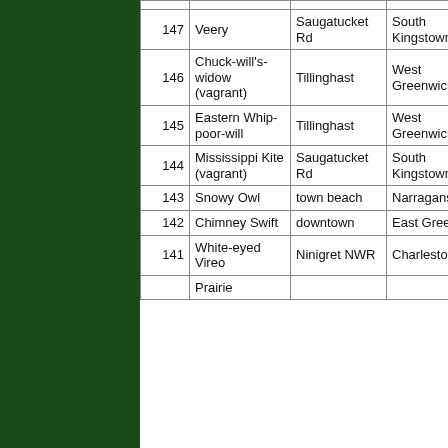| # | Bird | Location | Town |
| --- | --- | --- | --- |
| 147 | Veery | Saugatucket Rd | South Kingstown |
| 146 | Chuck-will's-widow (vagrant) | Tillinghast | West Greenwich |
| 145 | Eastern Whip-poor-will | Tillinghast | West Greenwich |
| 144 | Mississippi Kite (vagrant) | Saugatucket Rd | South Kingstown |
| 143 | Snowy Owl | town beach | Narragansett |
| 142 | Chimney Swift | downtown | East Greenwich |
| 141 | White-eyed Vireo | Ninigret NWR | Charlestown |
|  | Prairie |  |  |